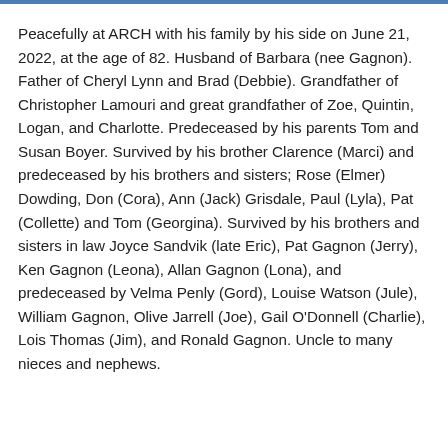Peacefully at ARCH with his family by his side on June 21, 2022, at the age of 82. Husband of Barbara (nee Gagnon). Father of Cheryl Lynn and Brad (Debbie). Grandfather of Christopher Lamouri and great grandfather of Zoe, Quintin, Logan, and Charlotte. Predeceased by his parents Tom and Susan Boyer. Survived by his brother Clarence (Marci) and predeceased by his brothers and sisters; Rose (Elmer) Dowding, Don (Cora), Ann (Jack) Grisdale, Paul (Lyla), Pat (Collette) and Tom (Georgina). Survived by his brothers and sisters in law Joyce Sandvik (late Eric), Pat Gagnon (Jerry), Ken Gagnon (Leona), Allan Gagnon (Lona), and predeceased by Velma Penly (Gord), Louise Watson (Jule), William Gagnon, Olive Jarrell (Joe), Gail O'Donnell (Charlie), Lois Thomas (Jim), and Ronald Gagnon. Uncle to many nieces and nephews.